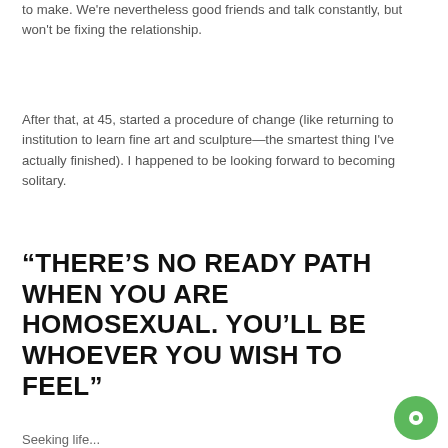to make. We're nevertheless good friends and talk constantly, but won't be fixing the relationship.
After that, at 45, started a procedure of change (like returning to institution to learn fine art and sculpture—the smartest thing I've actually finished). I happened to be looking forward to becoming solitary.
“THERE’S NO READY PATH WHEN YOU ARE HOMOSEXUAL. YOU’LL BE WHOEVER YOU WISH TO FEEL”
Seeking life...